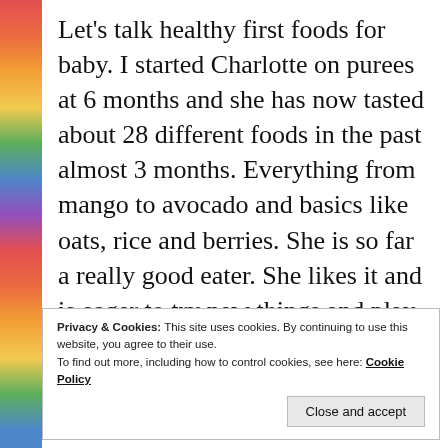Let's talk healthy first foods for baby. I started Charlotte on purees at 6 months and she has now tasted about 28 different foods in the past almost 3 months. Everything from mango to avocado and basics like oats, rice and berries. She is so far a really good eater. She likes it and is eager to try new things and play with her food. Here is a simple puree that she loves that has a banana as a base.
Privacy & Cookies: This site uses cookies. By continuing to use this website, you agree to their use.
To find out more, including how to control cookies, see here: Cookie Policy
Close and accept